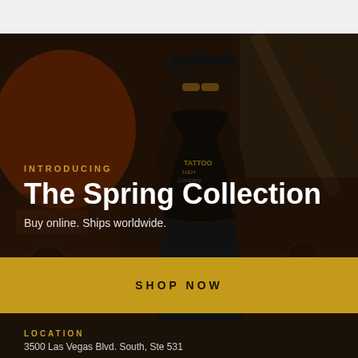[Figure (photo): Dark atmospheric photo of a tattooed man wearing a black cap with 'TATTOO COMPANY' text, sunglasses, and a black long-sleeve shirt with tattoo company branding. He is seated in what appears to be a garage or workshop environment with vintage cars and industrial equipment in the background. The image has a dark, moody aesthetic with amber/orange tones.]
INTRODUCING
The Spring Collection
Buy online. Ships worldwide.
SHOP NOW
LOCATION
3500 Las Vegas Blvd. South, Ste 531